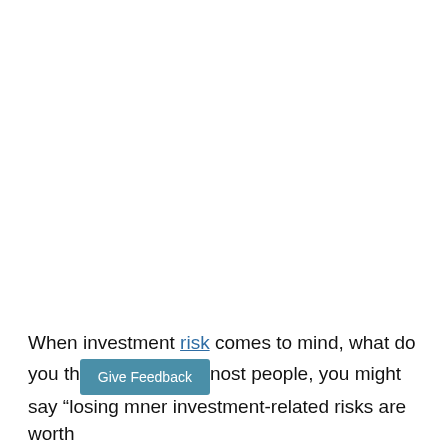When investment risk comes to mind, what do you th[ink of? Like most people, you might say "losing m[oney." But other investment-related risks are worth